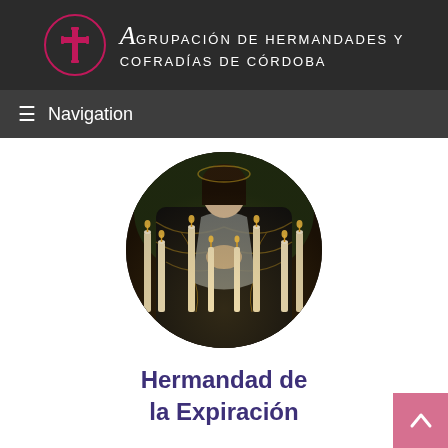Agrupación de Hermandades y Cofradías de Córdoba
≡ Navigation
[Figure (photo): Circular cropped photograph of a religious float figure (Virgin Mary) dressed in ornate black and gold embroidered robes, surrounded by lit white candles during a Semana Santa procession in Córdoba, Spain.]
Hermandad de la Expiración